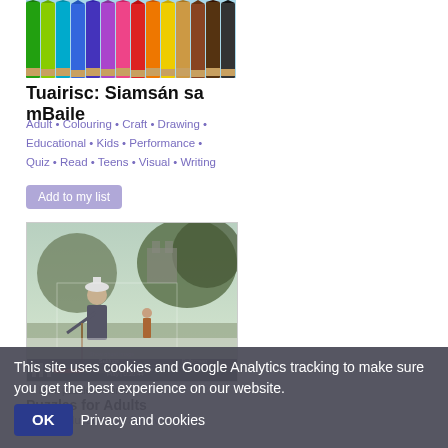[Figure (photo): Coloured pencils arranged in a row, showing a rainbow of colours from green to brown]
Tuairisc: Siamsán sa mBaile
Adult • Colouring • Craft • Drawing • Educational • Kids • Performance • Quiz • Read • Teens • Visual • Writing
Add to my list
[Figure (screenshot): Screenshot of an interactive jigsaw or puzzle website showing an outdoor scene with a person near trees, with controls including Show ghost image, Settings, and Fullscreen]
This site uses cookies and Google Analytics tracking to make sure you get the best experience on our website.
OK   Privacy and cookies
Puzzles for Adults
Adult • Educational • Jigsaw • Kids •